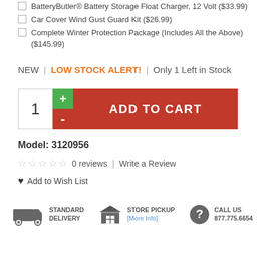BatteryButler® Battery Storage Float Charger, 12 Volt ($33.99)
Car Cover Wind Gust Guard Kit ($26.99)
Complete Winter Protection Package (Includes All the Above) ($145.99)
NEW  |  LOW STOCK ALERT!  |  Only 1 Left in Stock
1  +  -  ADD TO CART
Model: 3120956
☆ ☆ ☆ ☆ ☆  0 reviews  |  Write a Review
♥ Add to Wish List
STANDARD DELIVERY   STORE PICKUP [More Info]   CALL US 877.775.6654